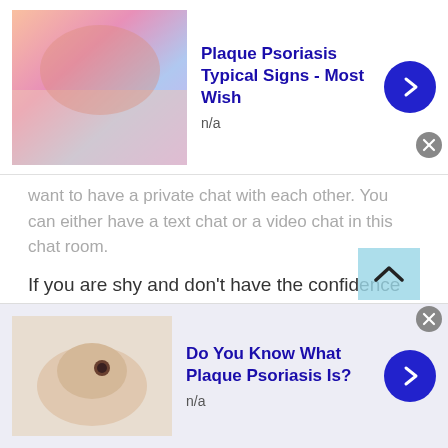[Figure (photo): Advertisement banner at top: medical skin condition image with pinkish/purplish skin, title 'Plaque Psoriasis Typical Signs - Most Wish', subtitle 'n/a', blue arrow button, close button]
want to have a private chat with each other. You can either have a text chat or a video chat in this chat room.
If you are shy and don't have the confidence to face the audience, then you can use the text chat feature to chat with the other person who is also shy like you and can be friends with him.
Video chat is for people who are confident and can comfortably talk to others by looking in the other person's eyes. Video chat allows you to have a one-on-one chat with a random stranger. Unlike text chat, in video chat
[Figure (photo): Advertisement banner at bottom: hand/skin mole image, title 'Do You Know What Plaque Psoriasis Is?', subtitle 'n/a', blue arrow button, close button]